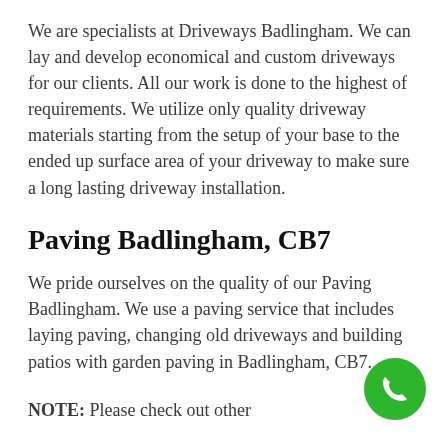We are specialists at Driveways Badlingham. We can lay and develop economical and custom driveways for our clients. All our work is done to the highest of requirements. We utilize only quality driveway materials starting from the setup of your base to the ended up surface area of your driveway to make sure a long lasting driveway installation.
Paving Badlingham, CB7
We pride ourselves on the quality of our Paving Badlingham. We use a paving service that includes laying paving, changing old driveways and building patios with garden paving in Badlingham, CB7.
NOTE: Please check out other